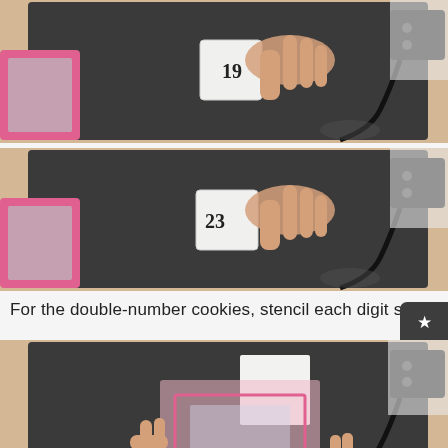[Figure (photo): Overhead view of a hand pressing a number '19' cookie stamp onto a dark baking mat on a wooden table, with a pink-framed item at left and a black device with cable at right.]
[Figure (photo): Overhead view of a hand pressing a number '23' cookie stamp onto a dark baking mat on a wooden table, with a pink-framed item at left and a black device with cable at right.]
For the double-number cookies, stencil each digit separat
[Figure (photo): Overhead view of hands holding a translucent pink stencil frame over a white square cookie on a dark baking mat on a wooden table.]